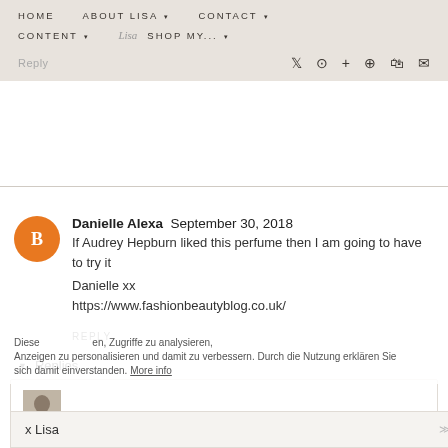HOME  ABOUT LISA  CONTACT  CONTENT  SHOP MY...
Danielle Alexa  September 30, 2018
If Audrey Hepburn liked this perfume then I am going to have to try it

Danielle xx
https://www.fashionbeautyblog.co.uk/

REPLY
Replies
Lisa Autumn  October 03, 2018
Totally agree :).

x Lisa